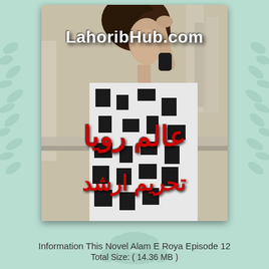[Figure (illustration): Book cover image for Urdu novel 'Alam E Roya' by Tahreem Arshad. Shows a woman in a black and white patterned outfit seated on a balcony, with website name 'LahoribHub.com' in white bold text, Urdu title in large red text, and author name in large red Urdu text below.]
Information This Novel Alam E Roya Episode 12
Total Size: ( 14.36 MB )